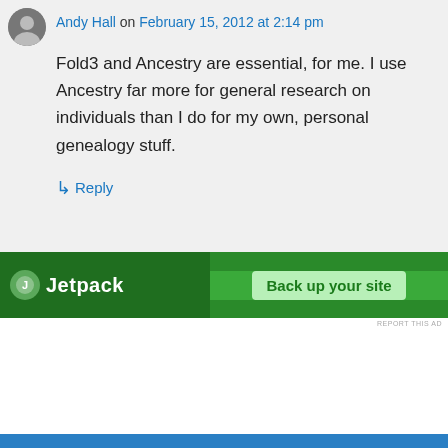Andy Hall on February 15, 2012 at 2:14 pm
Fold3 and Ancestry are essential, for me. I use Ancestry far more for general research on individuals than I do for my own, personal genealogy stuff.
↳ Reply
[Figure (screenshot): Jetpack advertisement banner - green background with Jetpack logo and 'Back up your site' button]
REPORT THIS AD
Privacy & Cookies: This site uses cookies. By continuing to use this website, you agree to their use.
To find out more, including how to control cookies, see here: Cookie Policy
Close and accept